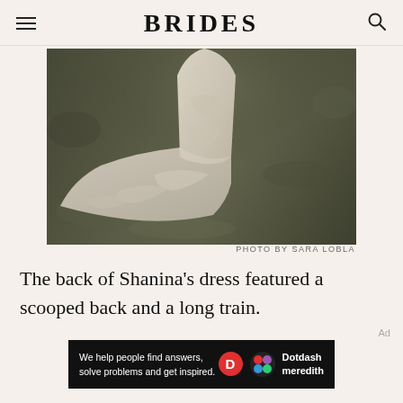BRIDES
[Figure (photo): Close-up photo of a bridal gown's back and long lace train draped on grass. The dress features intricate lace detailing and a flowing train spread across a green lawn. Only the lower portion of the dress is visible.]
PHOTO BY SARA LOBLA
The back of Shanina's dress featured a scooped back and a long train.
[Figure (other): Dotdash Meredith advertisement banner with text: We help people find answers, solve problems and get inspired. Features the Dotdash D logo in red and the Dotdash Meredith colorful circle logo.]